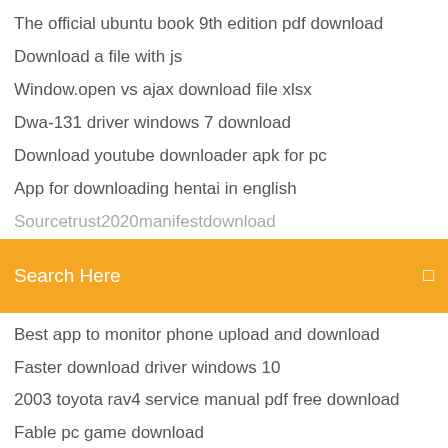The official ubuntu book 9th edition pdf download
Download a file with js
Window.open vs ajax download file xlsx
Dwa-131 driver windows 7 download
Download youtube downloader apk for pc
App for downloading hentai in english
(truncated/partially visible item)
[Figure (screenshot): Orange search bar with white text 'Search Here' and a small icon on the right]
Best app to monitor phone upload and download
Faster download driver windows 10
2003 toyota rav4 service manual pdf free download
Fable pc game download
Download woody woodpecker game pc
How to download torrent from info hash
Top downloaded fashion apps
Topbuzz app download to pc free
Android 4.1 2 jelly bean os free download
Final fantasy xiii pc torrent download